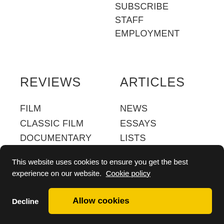SUBSCRIBE
STAFF
EMPLOYMENT
REVIEWS
ARTICLES
FILM
CLASSIC FILM
DOCUMENTARY
TV
CHILDREN'S
INSTRUCTIONAL
NEWS
ESSAYS
LISTS
INTERVIEWS
RESOURCES
PROFESSIONAL DEVELOPMENT
COLLECTION DEVELOPMENT
DISTRIBUTOR
This website uses cookies to ensure you get the best experience on our website. Cookie policy
Decline
Allow cookies